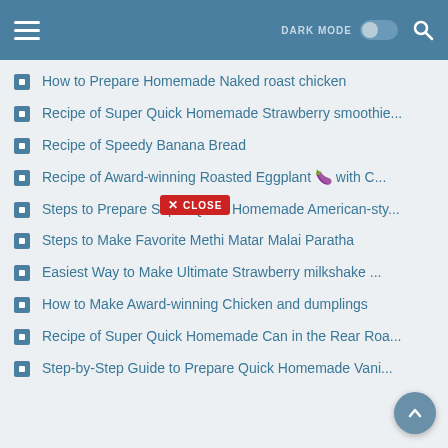DARK MODE (toggle) [search icon]
How to Prepare Homemade Naked roast chicken
Recipe of Super Quick Homemade Strawberry smoothie...
Recipe of Speedy Banana Bread
Recipe of Award-winning Roasted Eggplant 🍆 with C...
Steps to Prepare Super Quick Homemade American-sty...
Steps to Make Favorite Methi Matar Malai Paratha
Easiest Way to Make Ultimate Strawberry milkshake ...
How to Make Award-winning Chicken and dumplings
Recipe of Super Quick Homemade Can in the Rear Roa...
Step-by-Step Guide to Prepare Quick Homemade Vani...